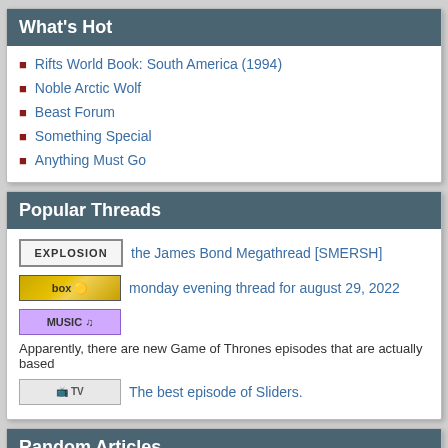What's Hot
Rifts World Book: South America (1994)
Noble Arctic Wolf
Beast Forum
Something Special
Anything Must Go
Popular Threads
the James Bond Megathread [SMERSH]
monday evening thread for august 29, 2022
Apparently, there are new Game of Thrones episodes that are actually based
The best episode of Sliders.
Random Articles
The Truth About Drugs!
Top 10 Failed Ways to Discourage Camping in Everquest
Oblivion; 42; The Place Beyond the Pines; Scary Movie 5